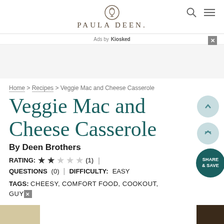PAULA DEEN
Ads by Kiosked
Home > Recipes > Veggie Mac and Cheese Casserole
Veggie Mac and Cheese Casserole
By Deen Brothers
RATING: ★★☆☆☆ (1) | QUESTIONS (0) | DIFFICULTY: EASY
TAGS: CHEESY, COMFORT FOOD, COOKOUT, GUY